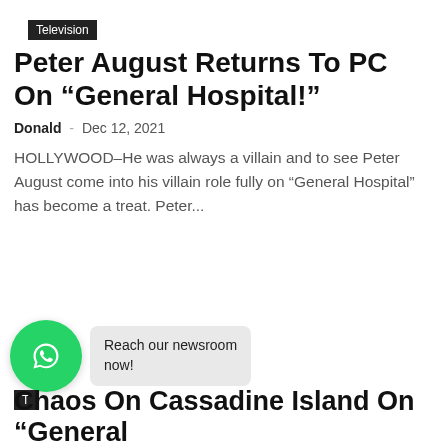Television
Peter August Returns To PC On “General Hospital!”
Donald – Dec 12, 2021
HOLLYWOOD–He was always a villain and to see Peter August come into his villain role fully on “General Hospital” has become a treat. Peter...
[Figure (other): WhatsApp contact button with speech bubble saying 'Reach our newsroom now!']
Chaos On Cassadine Island On “General